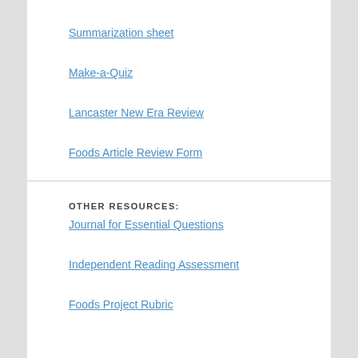Summarization sheet
Make-a-Quiz
Lancaster New Era Review
Foods Article Review Form
OTHER RESOURCES:
Journal for Essential Questions
Independent Reading Assessment
Foods Project Rubric